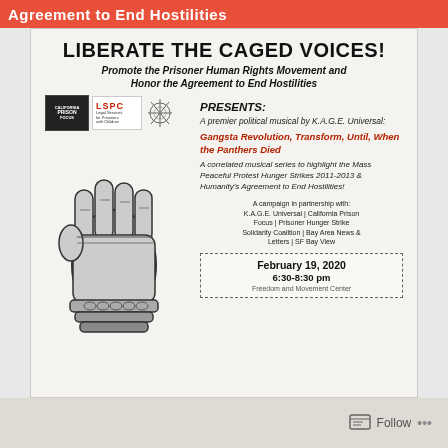Agreement to End Hostilities
LIBERATE THE CAGED VOICES!
Promote the Prisoner Human Rights Movement and Honor the Agreement to End Hostilities
[Figure (logo): California Prison Focus logo, LSPC Legal Services for Prisoners with Children logo, and a third insignia logo]
PRESENTS:
A premier political musical by K.A.G.E. Universal:
Gangsta Revolution, Transform, Until, When the Panthers Died
A correlated musical series to highlight the Mass Peaceful Protest Hunger Strikes 2011-2013 & Humanity's Agreement to End Hostilities!
[Figure (illustration): Black and white illustration of a raised fist with chains]
A campaign in partnership with: K.A.G.E. Universal | California Prison Focus | Prisoner Hunger Strike Solidarity Coalition | Bay Area News & Letters | SF Bay View
February 19, 2020
6:30-8:30 pm
Freedom and Movement Center
Follow